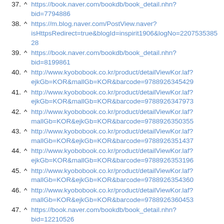37. ^ https://book.naver.com/bookdb/book_detail.nhn?bid=7794886
38. ^ https://m.blog.naver.com/PostView.naver?isHttpsRedirect=true&blogId=inspirit1906&logNo=220753538528
39. ^ https://book.naver.com/bookdb/book_detail.nhn?bid=8199861
40. ^ http://www.kyobobook.co.kr/product/detailViewKor.laf?ejkGb=KOR&mallGb=KOR&barcode=9788926345429
41. ^ http://www.kyobobook.co.kr/product/detailViewKor.laf?ejkGb=KOR&mallGb=KOR&barcode=9788926347973
42. ^ http://www.kyobobook.co.kr/product/detailViewKor.laf?mallGb=KOR&ejkGb=KOR&barcode=9788926350355
43. ^ http://www.kyobobook.co.kr/product/detailViewKor.laf?mallGb=KOR&ejkGb=KOR&barcode=9788926351437
44. ^ http://www.kyobobook.co.kr/product/detailViewKor.laf?ejkGb=KOR&mallGb=KOR&barcode=9788926353196
45. ^ http://www.kyobobook.co.kr/product/detailViewKor.laf?mallGb=KOR&ejkGb=KOR&barcode=9788926354360
46. ^ http://www.kyobobook.co.kr/product/detailViewKor.laf?mallGb=KOR&ejkGb=KOR&barcode=9788926360453
47. ^ https://book.naver.com/bookdb/book_detail.nhn?bid=12210526
48. ^ http://www.yes24.com/Product/Goods/55287872
49. ^ http://www.yes24.com/Product/Goods/60540956
50. ^ http://www.yes24.com/Product/Goods/67548430
51. ^ http://www.yes24.com/Product/Goods/74800678